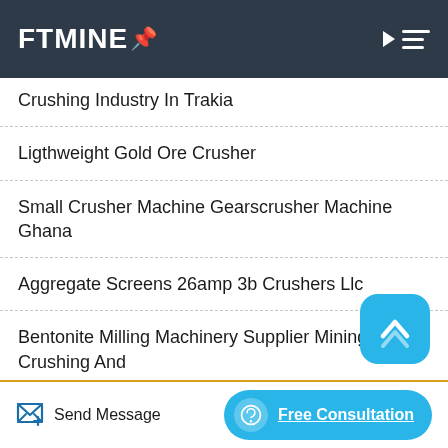FTMINE
Crushing Industry In Trakia
Ligthweight Gold Ore Crusher
Small Crusher Machine Gearscrusher Machine Ghana
Aggregate Screens 26amp 3b Crushers Llc
Bentonite Milling Machinery Supplier Mining Crushing And
Quartz Crushers In Ontario Canada
Send Message   Free Consultation